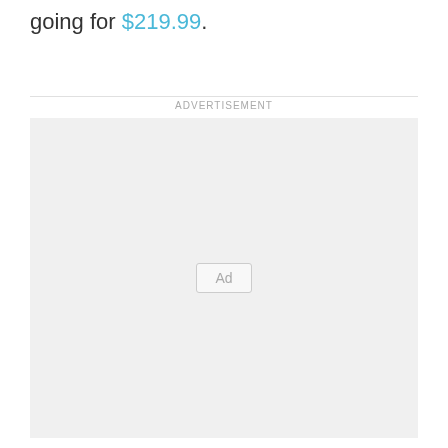going for $219.99.
[Figure (other): Advertisement placeholder box with 'Ad' button label in the center]